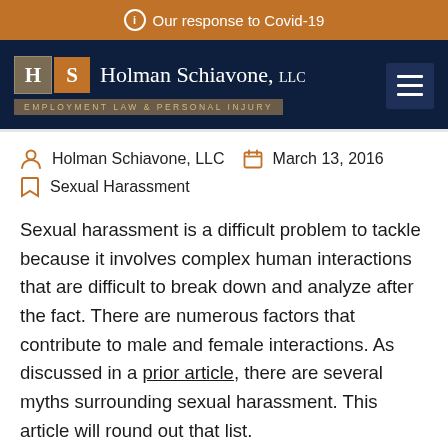Our response to Covid-19
[Figure (logo): Holman Schiavone, LLC logo with H and S letter boxes, firm name in serif font, and tagline EMPLOYMENT LAW & PERSONAL INJURY]
Holman Schiavone, LLC   March 13, 2016   Sexual Harassment
Sexual harassment is a difficult problem to tackle because it involves complex human interactions that are difficult to break down and analyze after the fact. There are numerous factors that contribute to male and female interactions. As discussed in a prior article, there are several myths surrounding sexual harassment. This article will round out that list.